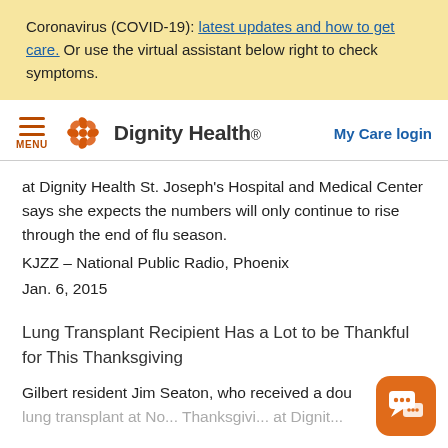Coronavirus (COVID-19): latest updates and how to get care. Or use the virtual assistant below right to check symptoms.
[Figure (logo): Dignity Health logo with orange flower/butterfly icon and the text 'Dignity Health.' plus navigation menu icon and 'My Care login' link]
at Dignity Health St. Joseph's Hospital and Medical Center says she expects the numbers will only continue to rise through the end of flu season.
KJZZ – National Public Radio, Phoenix
Jan. 6, 2015
Lung Transplant Recipient Has a Lot to be Thankful for This Thanksgiving
Gilbert resident Jim Seaton, who received a dou... Dignity...